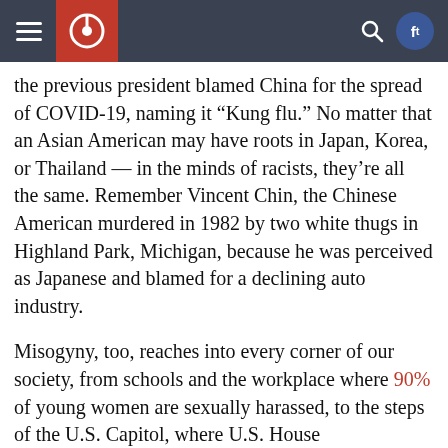[Navigation header with hamburger menu, logo, search, and social icons]
the previous president blamed China for the spread of COVID-19, naming it “Kung flu.” No matter that an Asian American may have roots in Japan, Korea, or Thailand — in the minds of racists, they’re all the same. Remember Vincent Chin, the Chinese American murdered in 1982 by two white thugs in Highland Park, Michigan, because he was perceived as Japanese and blamed for a declining auto industry.
Misogyny, too, reaches into every corner of our society, from schools and the workplace where 90% of young women are sexually harassed, to the steps of the U.S. Capitol, where U.S. House Representative Ocasio-Cortez was verbally attacked by a so-called colleague.